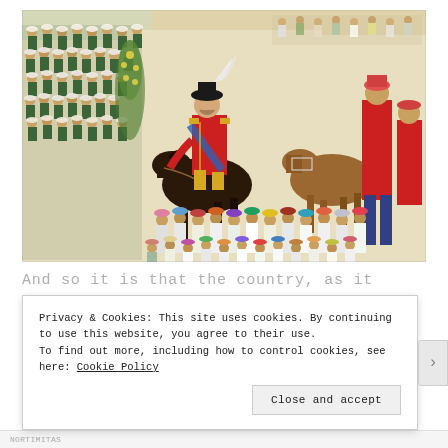[Figure (illustration): A colorful historical painting depicting a European military officer on a dark horse in a red uniform with gold epaulettes and a black hat with white feather, surrounded by rows of soldiers in green and white uniforms on the left, and Indian attendants and another horseman on the right, against a cream background.]
And so it is that the country, as it
Privacy & Cookies: This site uses cookies. By continuing to use this website, you agree to their use.
To find out more, including how to control cookies, see here: Cookie Policy
Close and accept